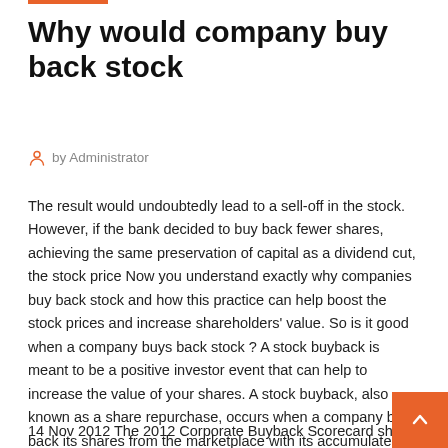Why would company buy back stock
by Administrator
The result would undoubtedly lead to a sell-off in the stock. However, if the bank decided to buy back fewer shares, achieving the same preservation of capital as a dividend cut, the stock price Now you understand exactly why companies buy back stock and how this practice can help boost the stock prices and increase shareholders' value. So is it good when a company buys back stock ? A stock buyback is meant to be a positive investor event that can help to increase the value of your shares. A stock buyback, also known as a share repurchase, occurs when a company buys back its shares from the marketplace with its accumulated cash. A stock buyback is a way for a company to re-invest in
14 Nov 2012 The 2012 Corporate Buyback Scorecard shows